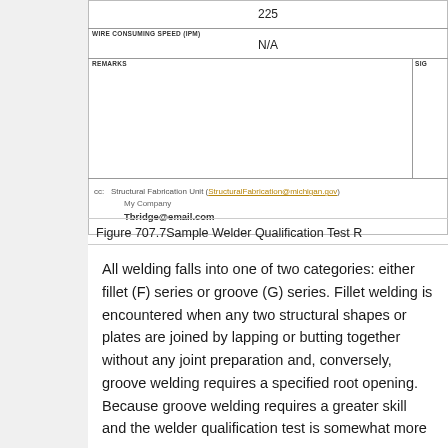[Figure (other): Partial view of a Welder Qualification Test Record form showing Wire Consuming Speed (IPM) field with value N/A, Remarks field, Signature field (truncated), and CC section listing Structural Fabrication Unit email, My Company, and Tbridge@email.com]
Figure 707.7Sample Welder Qualification Test R...
All welding falls into one of two categories: either fillet (F) series or groove (G) series. Fillet welding is encountered when any two structural shapes or plates are joined by lapping or butting together without any joint preparation and, conversely, groove welding requires a specified root opening. Because groove welding requires a greater skill and the welder qualification test is somewhat more